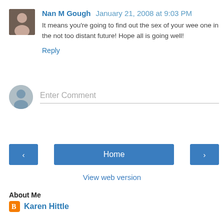Nan M Gough  January 21, 2008 at 9:03 PM
It means you're going to find out the sex of your wee one in the not too distant future! Hope all is going well!
Reply
Enter Comment
Home
View web version
About Me
Karen Hittle
View my complete profile
Powered by Blogger.